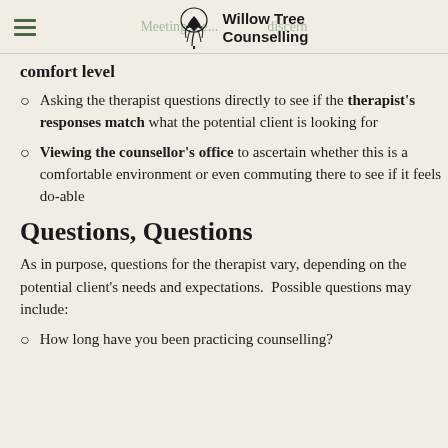Willow Tree Counselling — Meeting the... discern
comfort level
Asking the therapist questions directly to see if the therapist's responses match what the potential client is looking for
Viewing the counsellor's office to ascertain whether this is a comfortable environment or even commuting there to see if it feels do-able
Questions, Questions
As in purpose, questions for the therapist vary, depending on the potential client's needs and expectations. Possible questions may include:
How long have you been practicing counselling?